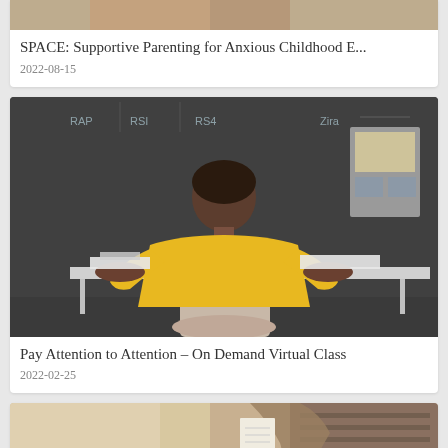[Figure (photo): Partial view of a person - cropped at top of page]
SPACE: Supportive Parenting for Anxious Childhood E...
2022-08-15
[Figure (photo): Child in yellow shirt sitting at a desk with back to camera, facing a chalkboard]
Pay Attention to Attention – On Demand Virtual Class
2022-02-25
[Figure (photo): Person holding papers or a book, partially visible at bottom of page]